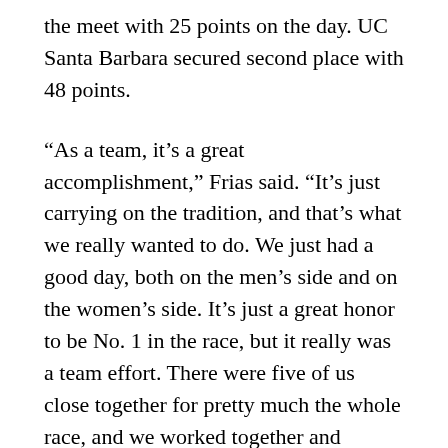the meet with 25 points on the day. UC Santa Barbara secured second place with 48 points.
“As a team, it’s a great accomplishment,” Frias said. “It’s just carrying on the tradition, and that’s what we really wanted to do. We just had a good day, both on the men’s side and on the women’s side. It’s just a great honor to be No. 1 in the race, but it really was a team effort. There were five of us close together for pretty much the whole race, and we worked together and surged at the end.”
Junior Sean Davidson finished ninth with a